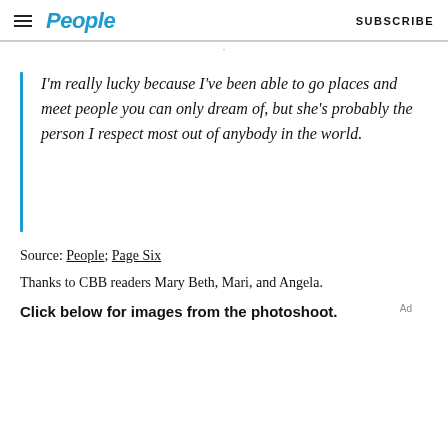People  SUBSCRIBE
I'm really lucky because I've been able to go places and meet people you can only dream of, but she's probably the person I respect most out of anybody in the world.
Source: People; Page Six
Thanks to CBB readers Mary Beth, Mari, and Angela.
Click below for images from the photoshoot.